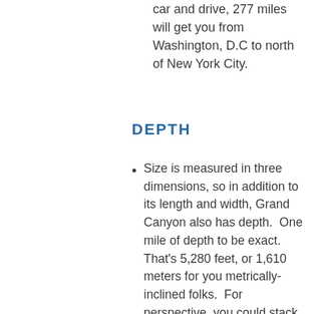car and drive, 277 miles will get you from Washington, D.C to north of New York City.
DEPTH
Size is measured in three dimensions, so in addition to its length and width, Grand Canyon also has depth.  One mile of depth to be exact.  That's 5,280 feet, or 1,610 meters for you metrically-inclined folks.  For perspective, you could stack 4 Empire State Buildings, both Petronas Towers, 3 CN Buildings, 7 Eiffel Towers, or 22 Statues of Liberty on top of each other to reach this depth.  The Goat's advice: try walking all the way to ONE of the